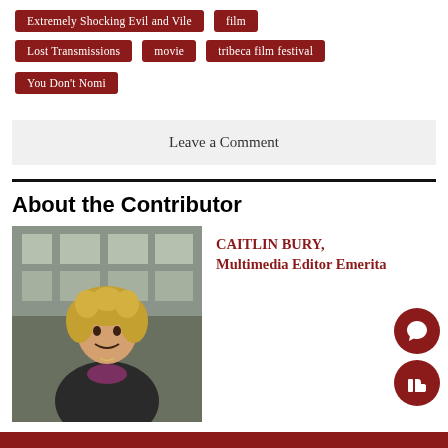Extremely Shocking Evil and Vile
film
Lost Transmissions
movie
tribeca film festival
You Don't Nomi
Leave a Comment
About the Contributor
[Figure (photo): Photo of Caitlin Bury, a young woman with curly blonde hair, smiling, wearing a dark jacket, standing in front of a building with large windows.]
CAITLIN BURY, Multimedia Editor Emerita